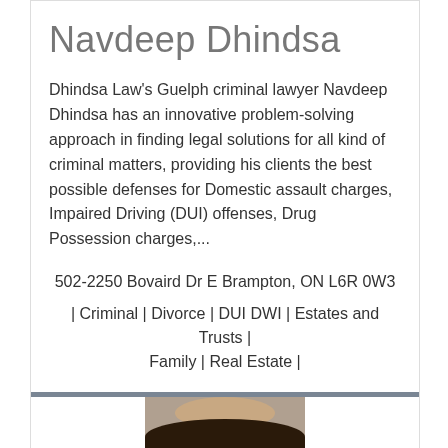Navdeep Dhindsa
Dhindsa Law's Guelph criminal lawyer Navdeep Dhindsa has an innovative problem-solving approach in finding legal solutions for all kind of criminal matters, providing his clients the best possible defenses for Domestic assault charges, Impaired Driving (DUI) offenses, Drug Possession charges,...
502-2250 Bovaird Dr E Brampton, ON L6R 0W3
| Criminal | Divorce | DUI DWI | Estates and Trusts | Family | Real Estate |
See Navdeep Dhindsa profile
[Figure (photo): Partial photo of a person, showing top of head with dark hair, cropped at bottom of page]